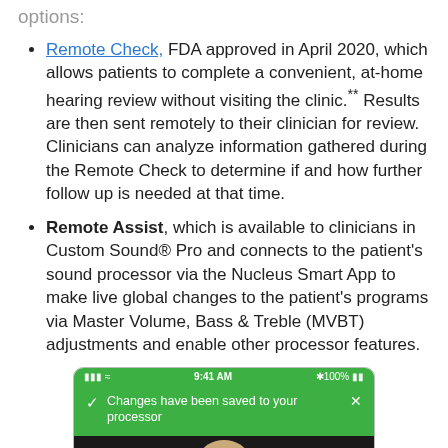options:
Remote Check, FDA approved in April 2020, which allows patients to complete a convenient, at-home hearing review without visiting the clinic.** Results are then sent remotely to their clinician for review. Clinicians can analyze information gathered during the Remote Check to determine if and how further follow up is needed at that time.
Remote Assist, which is available to clinicians in Custom Sound® Pro and connects to the patient's sound processor via the Nucleus Smart App to make live global changes to the patient's programs via Master Volume, Bass & Treble (MVBT) adjustments and enable other processor features.
[Figure (screenshot): A mobile phone screenshot showing a green notification bar with a checkmark icon and the message 'Changes have been saved to your processor' with an X close button. The status bar shows 9:41 AM and 100% battery. Below the notification is a partially visible video call screen showing a person's face.]